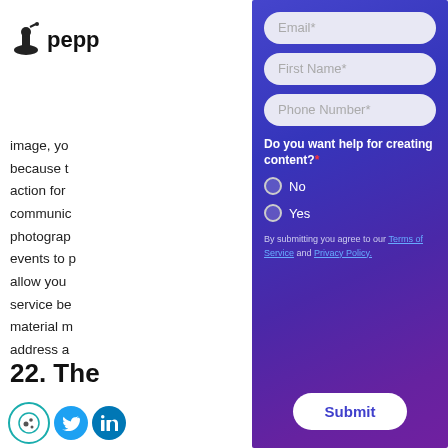[Figure (logo): Peppercontent logo - ink bottle icon with 'pepp' text visible]
image, yo
because t
action for
communic
photograp
events to p
allow you
service be
material m
address a
22. The
[Figure (screenshot): Modal overlay form with purple gradient background containing Email*, First Name*, Phone Number* input fields, radio buttons for 'Do you want help for creating content?' (No/Yes), terms of service text, and Submit button]